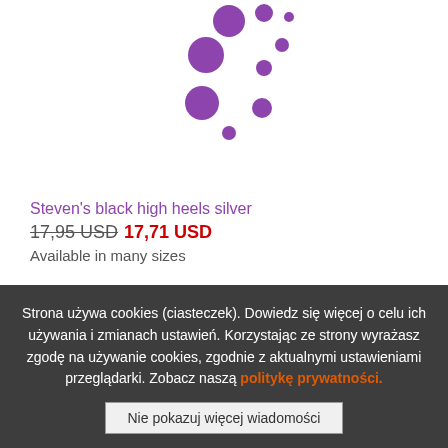[Figure (illustration): Loading spinner animation composed of purple circles of varying sizes arranged in a circular pattern]
Steven's black high heels silver
17,95 USD 17,71 USD
Available in many sizes
Strona używa cookies (ciasteczek). Dowiedz się więcej o celu ich używania i zmianach ustawień. Korzystając ze strony wyrażasz zgodę na używanie cookies, zgodnie z aktualnymi ustawieniami przeglądarki. Zobacz naszą politykę prywatności.
Nie pokazuj więcej wiadomości